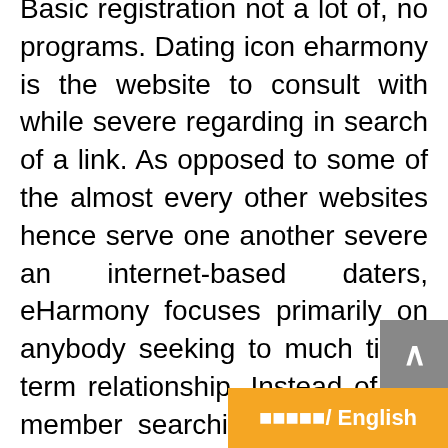Basic registration not a lot of, no programs. Dating icon eharmony is the website to consult with while severe regarding in search of a link. As opposed to some of the almost every other websites hence serve one another severe an internet-based daters, eHarmony focuses primarily on anybody seeking to much time-term relationship. Instead of the member searching for potential programs with regards to dwarf standards, eHarmony gifts the apps toward lengthy and comprehensive identity test players bring whenever joining. One thing's at no cost: Profits stories for eHarmony is actually common on the internet site. Once again — online to join up, but options are restricted.
To truly message, need a mem